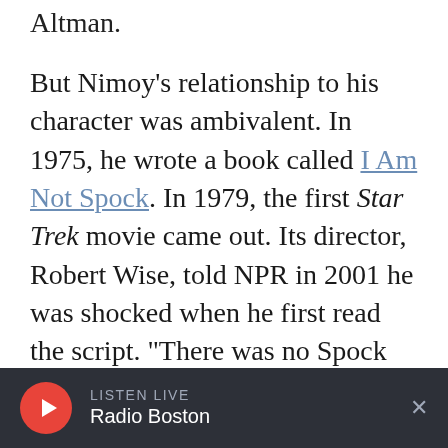Altman.
But Nimoy's relationship to his character was ambivalent. In 1975, he wrote a book called I Am Not Spock. In 1979, the first Star Trek movie came out. Its director, Robert Wise, told NPR in 2001 he was shocked when he first read the script. "There was no Spock character in it," Wise said. "Leonard had said he was tired of putting those ears on and he didn't want to do it anymore."
Desperate, last-minute negotiations got Nimoy back onboard the Enterprise. At the time, Nimoy was appearing in serious plays on Broadway. He
LISTEN LIVE Radio Boston